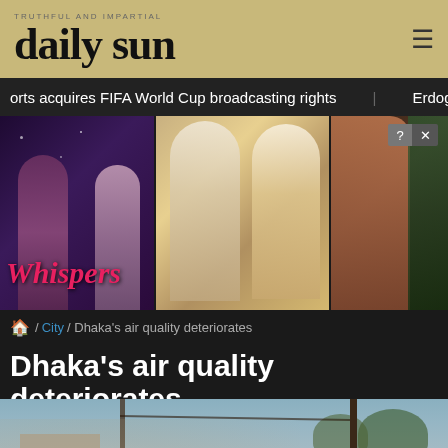daily sun
orts acquires FIFA World Cup broadcasting rights   Erdogan throws T
[Figure (photo): Advertisement banner for 'Whispers' app/game showing romantic imagery with multiple couples, pink cursive Whispers logo, and close ad button]
🏠 / City / Dhaka's air quality deteriorates
Dhaka's air quality deteriorates
[Figure (photo): Two people walking through a dusty, hazy street in Dhaka, Bangladesh, covering their faces with cloth against air pollution. Utility poles, trees, and construction visible in the background.]